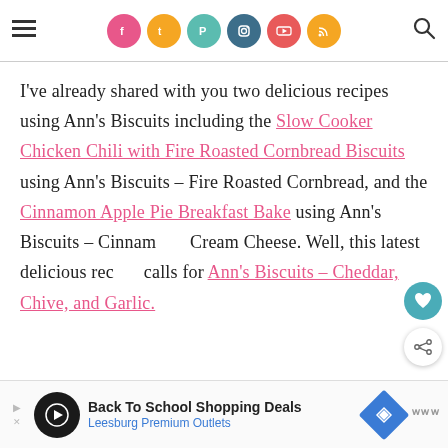Social media navigation bar with icons for Facebook, Twitter, Pinterest, Instagram, YouTube, RSS, and a search icon
I've already shared with you two delicious recipes using Ann's Biscuits including the Slow Cooker Chicken Chili with Fire Roasted Cornbread Biscuits using Ann's Biscuits – Fire Roasted Cornbread, and the Cinnamon Apple Pie Breakfast Bake using Ann's Biscuits – Cinnamon Cream Cheese. Well, this latest delicious recipe calls for Ann's Biscuits – Cheddar, Chive, and Garlic.
[Figure (other): Advertisement banner for Back To School Shopping Deals at Leesburg Premium Outlets]